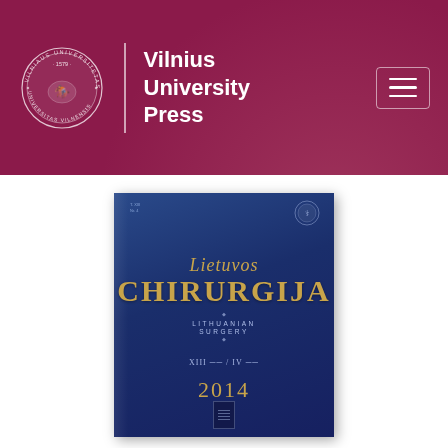Vilnius University Press
[Figure (illustration): Cover of Lietuvos Chirurgija (Lithuanian Surgery) journal, volume XIII, issue IV, 2014. Dark blue background with gold title lettering on a navy gradient cover. Publisher seal medallion top right. Small volume marker top left.]